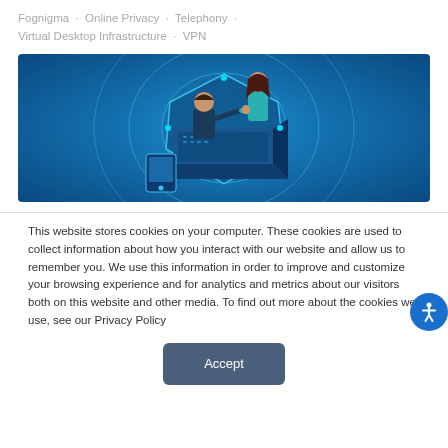Fognigma · Online Privacy · Telephony · Virtual Desktop Infrastructure · VPN
[Figure (illustration): Isometric illustration of two people shaking hands over a laptop inside a glowing blue circular digital/tech sphere, on a blue gradient background suggesting VPN/security theme.]
This website stores cookies on your computer. These cookies are used to collect information about how you interact with our website and allow us to remember you. We use this information in order to improve and customize your browsing experience and for analytics and metrics about our visitors both on this website and other media. To find out more about the cookies we use, see our Privacy Policy
Accept